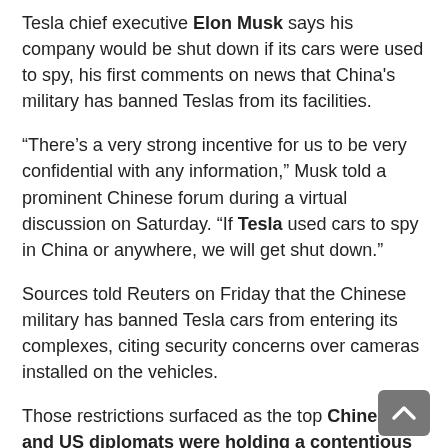Tesla chief executive Elon Musk says his company would be shut down if its cars were used to spy, his first comments on news that China's military has banned Teslas from its facilities.
“There’s a very strong incentive for us to be very confidential with any information,” Musk told a prominent Chinese forum during a virtual discussion on Saturday. “If Tesla used cars to spy in China or anywhere, we will get shut down.”
Sources told Reuters on Friday that the Chinese military has banned Tesla cars from entering its complexes, citing security concerns over cameras installed on the vehicles.
Those restrictions surfaced as the top Chinese and US diplomats were holding a contentious meeting in Alaska, the first such in-person interaction since U.S. President Joe Biden took office in January.
Musk urged greater mutual trust between the world’s two